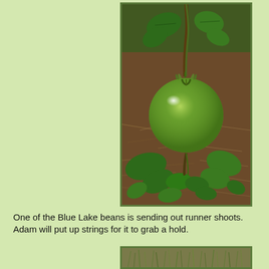[Figure (photo): Close-up photo of a green tomato on the vine, with surrounding green leaves and brown mulch/soil in the background.]
One of the Blue Lake beans is sending out runner shoots. Adam will put up strings for it to grab a hold.
[Figure (photo): Photo of green bean plant runners/shoots on the ground.]